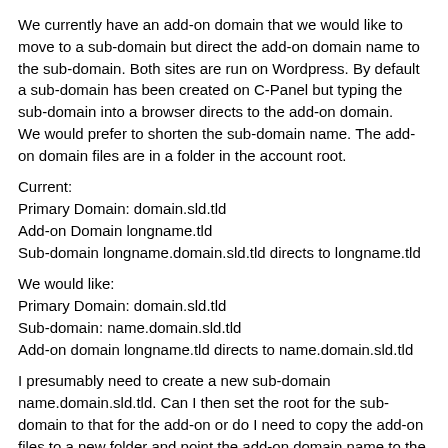We currently have an add-on domain that we would like to move to a sub-domain but direct the add-on domain name to the sub-domain. Both sites are run on Wordpress. By default a sub-domain has been created on C-Panel but typing the sub-domain into a browser directs to the add-on domain.
We would prefer to shorten the sub-domain name. The add-on domain files are in a folder in the account root.
Current:
Primary Domain: domain.sld.tld
Add-on Domain longname.tld
Sub-domain longname.domain.sld.tld directs to longname.tld
We would like:
Primary Domain: domain.sld.tld
Sub-domain: name.domain.sld.tld
Add-on domain longname.tld directs to name.domain.sld.tld
I presumably need to create a new sub-domain name.domain.sld.tld. Can I then set the root for the sub-domain to that for the add-on or do I need to copy the add-on files to a new folder and point the add-on domain name to the new folder? Is having the address shown in the address bar as the sub-